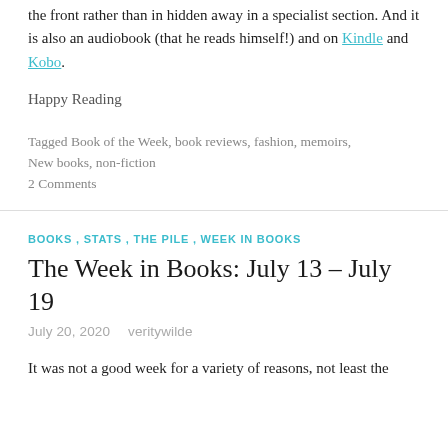the front rather than in hidden away in a specialist section. And it is also an audiobook (that he reads himself!) and on Kindle and Kobo.
Happy Reading
Tagged Book of the Week, book reviews, fashion, memoirs, New books, non-fiction
2 Comments
BOOKS , STATS , THE PILE , WEEK IN BOOKS
The Week in Books: July 13 – July 19
July 20, 2020   veritywilde
It was not a good week for a variety of reasons, not least the